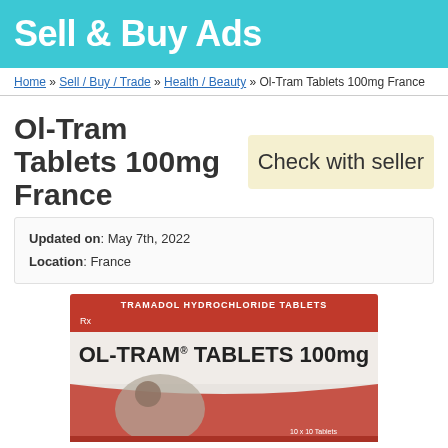Sell & Buy Ads
Home » Sell / Buy / Trade » Health / Beauty » Ol-Tram Tablets 100mg France
Ol-Tram Tablets 100mg France
Check with seller
Updated on: May 7th, 2022
Location: France
[Figure (photo): Product box of OL-TRAM Tablets 100mg (Tramadol Hydrochloride Tablets), white and red packaging with image of a person in pain]